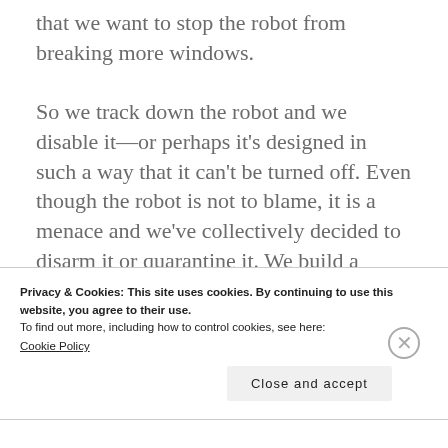that we want to stop the robot from breaking more windows.
So we track down the robot and we disable it—or perhaps it's designed in such a way that it can't be turned off. Even though the robot is not to blame, it is a menace and we've collectively decided to disarm it or quarantine it. We build a glassless room and sequester it away so it can do no more
Privacy & Cookies: This site uses cookies. By continuing to use this website, you agree to their use.
To find out more, including how to control cookies, see here:
Cookie Policy
Close and accept